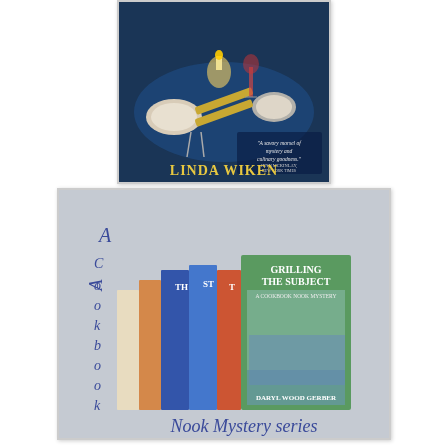[Figure (illustration): Book cover for a Linda Wiken novel showing a dining table with plates, candles, wine glass, and cutlery on a blue tablecloth. Author name LINDA WIKEN in gold letters at bottom. Quote: 'A savory morsel of mystery and culinary goodness.' — JENN McKINLAY, NEW YORK TIMES BESTSELLING AUTHOR.]
[Figure (illustration): Collage image on gray background showing multiple book spines from the Cookbook Nook Mystery series. Visible title: GRILLING THE SUBJECT by DARYL WOOD GERBER. Text on left reads 'A Cookbook' vertically. Bottom text reads 'Nook Mystery series' in blue italic script.]